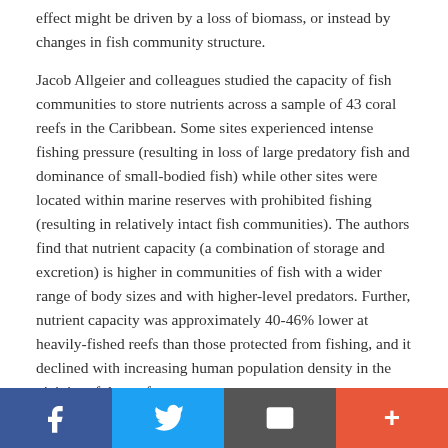effect might be driven by a loss of biomass, or instead by changes in fish community structure.
Jacob Allgeier and colleagues studied the capacity of fish communities to store nutrients across a sample of 43 coral reefs in the Caribbean. Some sites experienced intense fishing pressure (resulting in loss of large predatory fish and dominance of small-bodied fish) while other sites were located within marine reserves with prohibited fishing (resulting in relatively intact fish communities). The authors find that nutrient capacity (a combination of storage and excretion) is higher in communities of fish with a wider range of body sizes and with higher-level predators. Further, nutrient capacity was approximately 40-46% lower at heavily-fished reefs than those protected from fishing, and it declined with increasing human population density in the vicinity of the reef.
[Figure (infographic): Social sharing bar with four buttons: Facebook (blue, f icon), Twitter (light blue, bird icon), Email (dark grey, envelope icon), Plus/More (orange-red, + icon)]